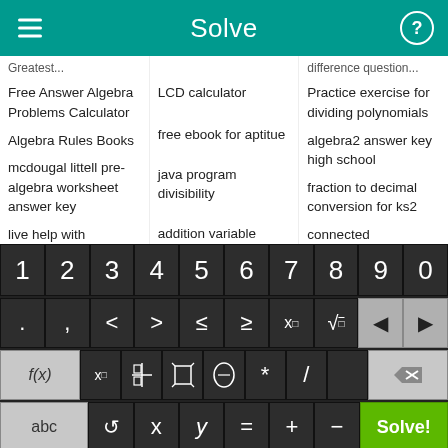Solve
Free Answer Algebra Problems Calculator
LCD calculator
Practice exercise for dividing polynomials
Algebra Rules Books
free ebook for aptitue
algebra2 answer key high school
mcdougal littell pre-algebra worksheet answer key
java program divisibility
fraction to decimal conversion for ks2
live help with
addition variable
connected
[Figure (screenshot): Mobile calculator keyboard with number keys 1-9,0, operator keys including <, >, ≤, ≥, x^□, √, backspace, forward; function keys f(x), x□, fraction, absolute value, parentheses, *, /; letter keys abc, rotation, x, y, =, +, -, and a green Solve! button]